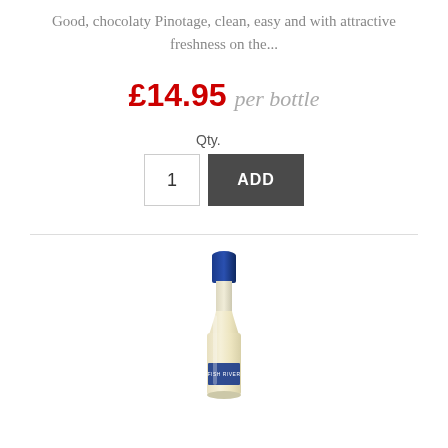Good, chocolaty Pinotage, clean, easy and with attractive freshness on the...
£14.95  per bottle
Qty.
1
ADD
[Figure (photo): A white wine bottle with blue foil cap and a label reading 'FISH RIVER', containing a pale yellow wine.]